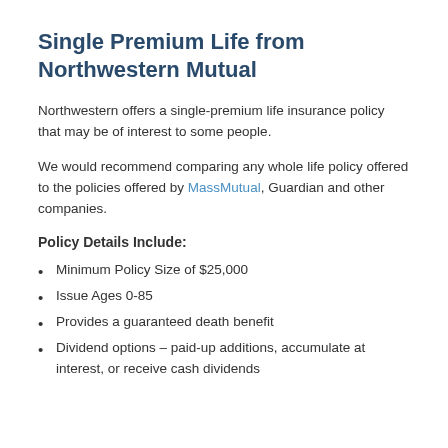Single Premium Life from Northwestern Mutual
Northwestern offers a single-premium life insurance policy that may be of interest to some people.
We would recommend comparing any whole life policy offered to the policies offered by MassMutual, Guardian and other companies.
Policy Details Include:
Minimum Policy Size of $25,000
Issue Ages 0-85
Provides a guaranteed death benefit
Dividend options – paid-up additions, accumulate at interest, or receive cash dividends